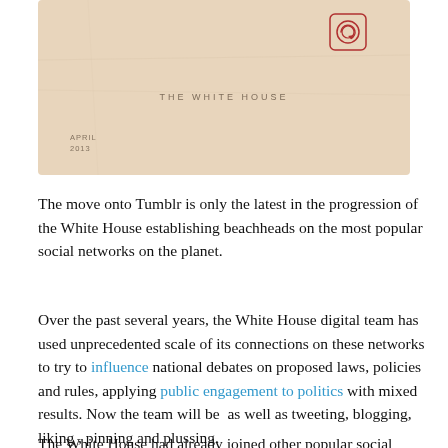[Figure (photo): A vintage-looking White House envelope with a faded pinkish-beige background. Text reads 'THE WHITE HOUSE' in the center, 'APRIL 2013' in the lower left, and a red circular emblem/seal in the upper right corner.]
The move onto Tumblr is only the latest in the progression of the White House establishing beachheads on the most popular social networks on the planet.
Over the past several years, the White House digital team has used unprecedented scale of its connections on these networks to try to influence national debates on proposed laws, policies and rules, applying public engagement to politics with mixed results. Now the team will be  as well as tweeting, blogging, liking , pinning and plussing.
The White House had already joined other popular social